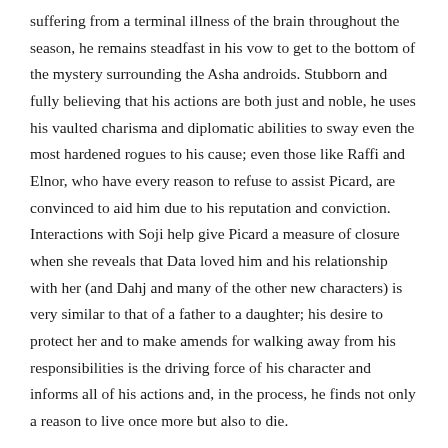suffering from a terminal illness of the brain throughout the season, he remains steadfast in his vow to get to the bottom of the mystery surrounding the Asha androids. Stubborn and fully believing that his actions are both just and noble, he uses his vaulted charisma and diplomatic abilities to sway even the most hardened rogues to his cause; even those like Raffi and Elnor, who have every reason to refuse to assist Picard, are convinced to aid him due to his reputation and conviction. Interactions with Soji help give Picard a measure of closure when she reveals that Data loved him and his relationship with her (and Dahj and many of the other new characters) is very similar to that of a father to a daughter; his desire to protect her and to make amends for walking away from his responsibilities is the driving force of his character and informs all of his actions and, in the process, he finds not only a reason to live once more but also to die.